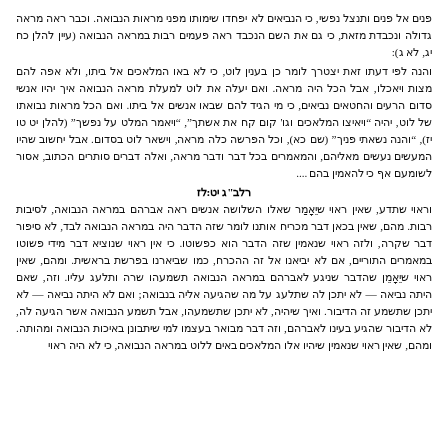פנים אל פנים ותנצל נפשי, כי הנביאים לא יפחדו שימותו מפני מראות הנבואה. וכבר ראה מראה גדולה ונכבדת מזאת, כי גם את השם הנכבד ראה פעמים רבות במראה הנבואה (עיין להלן כח יג, לא ג):
והנה לפי דעתו זאת יצטרך לומר כן בענין לוט, כי לא באו המלאכים אל ביתו, ולא אפה להם מצות ויאכלו, אבל הכל היה מראה. ואם יעלה את לוט למעלת מראה הנבואה איך יהיו אנשי סדום הרעים והחטאים נביאים, כי מי הגיד להם שבאו אנשים אל ביתו. ואם הכל מראות נבואתו של לוט, יהיה "ויאיצו המלאכים וגו' קום קח את אשתך", "ויאמר המלט על נפשך" (להלן יט טו יז), "והנה נשאתי פניך" (שם כא), וכל הפרשה כלה מראה, וישאר לוט בסדום. אבל יחשוב שהיו המעשים נעשים מאליהם, והמאמרים בכל דבר ודבר מראה, ואלה דברים סותרים הכתוב, אסור לשומעם אף כי להאמין בהם....
רלב"ג יט:לז
וראוי שתדע, שאין ראוי שיֵאָמַר שאלו השלושה אנשים ראה אברהם במראה הנבואה, לסיבות רבות. מהם, שאין בכאן דבר מכריח אותנו לומר שזה הדבר היה במראה הנבואה לבד, לא סיפור דבר שקרה, ולזה ראוי שנאמין שזה הדבר הוא כפשוטו. כי אין ראוי שנוציא דבר מידי פשוטו במאמרים התוריים, אם לא יביאנו אל זה ההכרח, כמו שביארנו בפרשת בראשית. ומהם, שאין ראוי שיֵאָמֵן שהדבר שניגע לאברהם במראה הנבואה תשמעהו שרה ותלעג עליו. וזה, שאם היתה נביאה — לא יתכן לה שתלעג על מה שהגיעה אליה בנבואה; ואם לא היתה נביאה — לא יתכן שתשמע זה הדיבור. ואיך שיהיה, לא יתכן שתשמעהו, אבל תשמע הנבואה אשר הגיעה לה, לא הדיבור שהגיע בעינו לאברהם, וזה דבר מבואר בעצמו למי שיתבונן באיכות הנבואה ומהותה. ומהם, שאין ראוי שנאמין שיהיו אלו המלאכים באים ללוט במראה הנבואה, כי לא היה ראוי